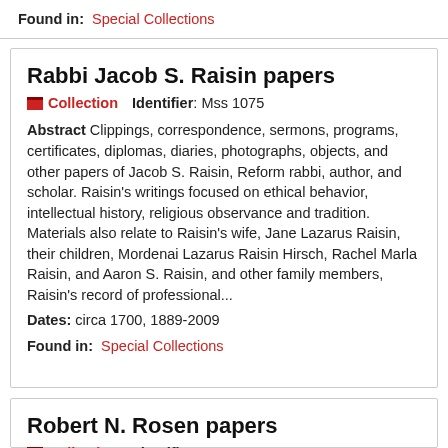Found in: Special Collections
Rabbi Jacob S. Raisin papers
Collection   Identifier: Mss 1075
Abstract Clippings, correspondence, sermons, programs, certificates, diplomas, diaries, photographs, objects, and other papers of Jacob S. Raisin, Reform rabbi, author, and scholar. Raisin's writings focused on ethical behavior, intellectual history, religious observance and tradition. Materials also relate to Raisin's wife, Jane Lazarus Raisin, their children, Mordenai Lazarus Raisin Hirsch, Rachel Marla Raisin, and Aaron S. Raisin, and other family members, Raisin's record of professional...
Dates: circa 1700, 1889-2009
Found in: Special Collections
Robert N. Rosen papers
Collection   Identifier: Mss 1064
Collection Overview This collection contains 10